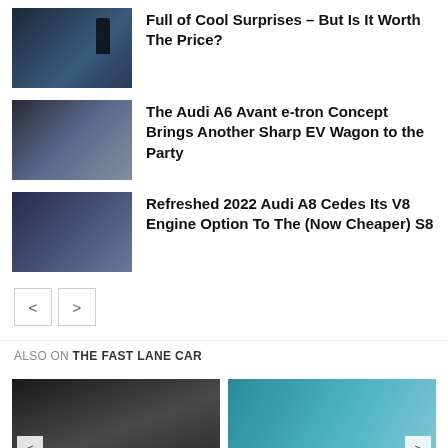[Figure (photo): Dark blue Audi SUV with person standing beside it]
Full of Cool Surprises – But Is It Worth The Price?
[Figure (photo): Audi A6 Avant e-tron concept wagon in motion]
The Audi A6 Avant e-tron Concept Brings Another Sharp EV Wagon to the Party
[Figure (photo): Refreshed 2022 Audi A8 sedan in dark blue]
Refreshed 2022 Audi A8 Cedes Its V8 Engine Option To The (Now Cheaper) S8
< >
ALSO ON THE FAST LANE CAR
[Figure (photo): Car in dark tunnel underpass]
[Figure (photo): Teal SUV on road with cloudy sky]